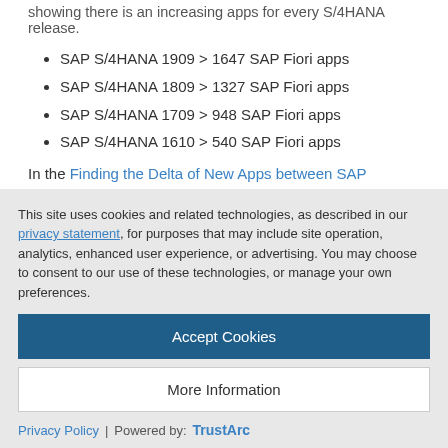showing there is an increasing apps for every S/4HANA release.
SAP S/4HANA 1909 > 1647 SAP Fiori apps
SAP S/4HANA 1809 > 1327 SAP Fiori apps
SAP S/4HANA 1709 > 948 SAP Fiori apps
SAP S/4HANA 1610 > 540 SAP Fiori apps
In the Finding the Delta of New Apps between SAP S/4HANA Versions blog we describe how to find the delta between versions.
In the SAP S/4HANA What's New Viewer you can also find an
This site uses cookies and related technologies, as described in our privacy statement, for purposes that may include site operation, analytics, enhanced user experience, or advertising. You may choose to consent to our use of these technologies, or manage your own preferences.
Accept Cookies
More Information
Privacy Policy | Powered by: TrustArc